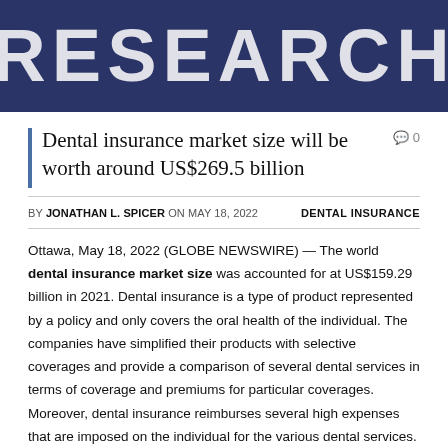[Figure (logo): Dark navy blue banner with large white uppercase text reading RESEARCH]
Dental insurance market size will be worth around US$269.5 billion
BY JONATHAN L. SPICER ON MAY 18, 2022   DENTAL INSURANCE
Ottawa, May 18, 2022 (GLOBE NEWSWIRE) — The world dental insurance market size was accounted for at US$159.29 billion in 2021. Dental insurance is a type of product represented by a policy and only covers the oral health of the individual. The companies have simplified their products with selective coverages and provide a comparison of several dental services in terms of coverage and premiums for particular coverages. Moreover, dental insurance reimburses several high expenses that are imposed on the individual for the various dental services. Insurance companies have benefited